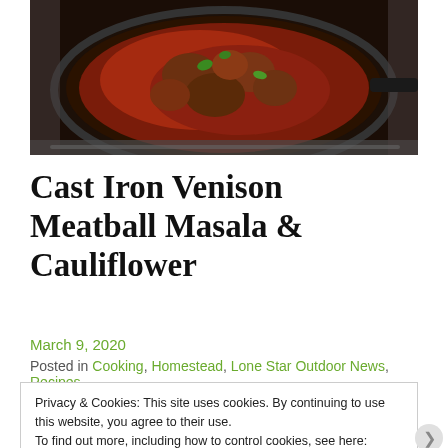[Figure (photo): Food photograph showing a cast iron pan with Indian-style meatball masala dish with tomato sauce and green peppers, viewed from above on a stovetop.]
Cast Iron Venison Meatball Masala & Cauliflower
March 9, 2020
Posted in Cooking, Homestead, Lone Star Outdoor News, Recipes,
Privacy & Cookies: This site uses cookies. By continuing to use this website, you agree to their use. To find out more, including how to control cookies, see here: Cookie Policy  Close and accept